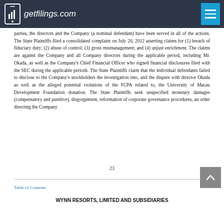getfilings.com
parties, the directors and the Company (a nominal defendant) have been served in all of the actions. The State Plaintiffs filed a consolidated complaint on July 20, 2012 asserting claims for (1) breach of fiduciary duty; (2) abuse of control; (3) gross mismanagement; and (4) unjust enrichment. The claims are against the Company and all Company directors during the applicable period, including Mr. Okada, as well as the Company's Chief Financial Officer who signed financial disclosures filed with the SEC during the applicable periods. The State Plaintiffs claim that the individual defendants failed to disclose to the Company's stockholders the investigation into, and the dispute with director Okada as well as the alleged potential violations of the FCPA related to, the University of Macau Development Foundation donation. The State Plaintiffs seek unspecified monetary damages (compensatory and punitive), disgorgement, reformation of corporate governance procedures, an order directing the Company
23
Table of Contents
WYNN RESORTS, LIMITED AND SUBSIDIARIES